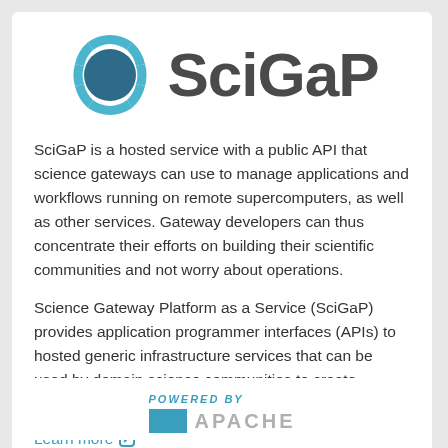[Figure (logo): SciGaP logo consisting of a circular gear/sun icon in teal/blue and the text 'SciGaP' in dark gray bold font]
SciGaP is a hosted service with a public API that science gateways can use to manage applications and workflows running on remote supercomputers, as well as other services. Gateway developers can thus concentrate their efforts on building their scientific communities and not worry about operations.
Science Gateway Platform as a Service (SciGaP) provides application programmer interfaces (APIs) to hosted generic infrastructure services that can be used by domain science communities to create Science Gateways.
Learn more
[Figure (logo): Powered by Apache logo — text 'POWERED BY' in teal italic capitals above an Apache feather icon and partial text 'APACHE' in light gray]